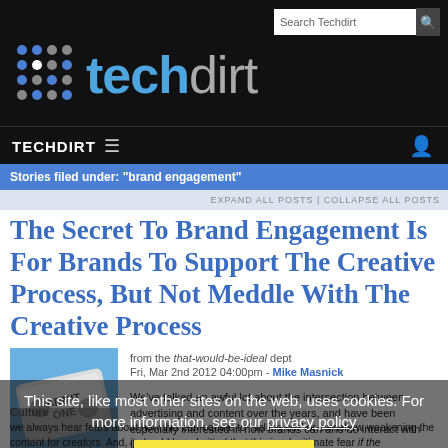[Figure (logo): Techdirt logo with dot grid icon and site name in blue/grey on black background]
Search Techdirt
TECHDIRT ≡
Stories filed under: "brand engagement"
EXPAND ALL POSTS | COLLAPSE ALL POSTS
The Secret To Brand Engagement Is For Brands To Support The Creative Process, But Not Meddle With The Creative Process
from the that-would-be-ideal dept
Fri, Mar 2nd 2012 04:00pm - Mike Masnick
[Figure (illustration): Admit One ticket stub illustration]
We've talked an awful lot about the intersection between advertising and content over the years, and have been especially interested in how brands can and do interact with various content offerings. But we always hear fears about how this can equate to "selling out" or somehow weakening the content for creators. And, it should be admitted that this is a legitimate fear if the
This site, like most other sites on the web, uses cookies. For more information, see our privacy policy
GOT IT
Culture